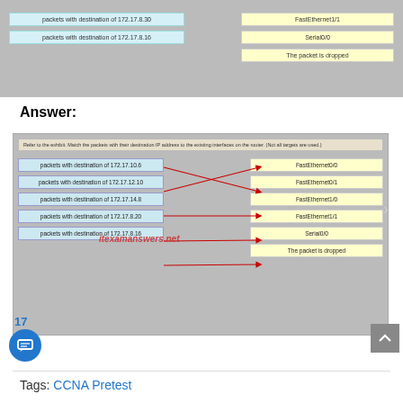[Figure (other): Partial matching diagram showing top portion with two rows on left (packets with destination of 172.17.8.30 and 172.17.8.16) and three items on right (FastEthernet1/1, Serial0/0, The packet is dropped)]
Answer:
[Figure (other): Full matching diagram: instruction bar reads 'Refer to the exhibit. Match the packets with their destination IP address to the existing interfaces on the router. (Not all targets are used.)'. Left column: packets with destination of 172.17.10.6, 172.17.12.10, 172.17.14.8, 172.17.8.20, 172.17.8.16. Right column: FastEthernet0/0, FastEthernet0/1, FastEthernet1/0, FastEthernet1/1, Serial0/0, The packet is dropped. Red crossed arrows show the correct matches. Watermark: itexamanswers.net]
17
Tags: CCNA Pretest